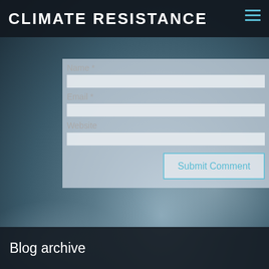CLIMATE RESISTANCE
[Figure (screenshot): Website comment form with Name, Email, Website fields and Submit Comment button, overlaid on a stormy cloud background]
Name *
Email *
Website
Submit Comment
Blog archive